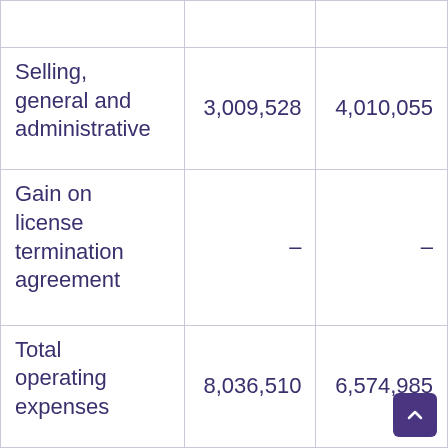|  |  |  |
| --- | --- | --- |
|  |  |  |
| Selling, general and administrative | 3,009,528 | 4,010,055 |
| Gain on license termination agreement | – | – |
| Total operating expenses | 8,036,510 | 6,574,985 |